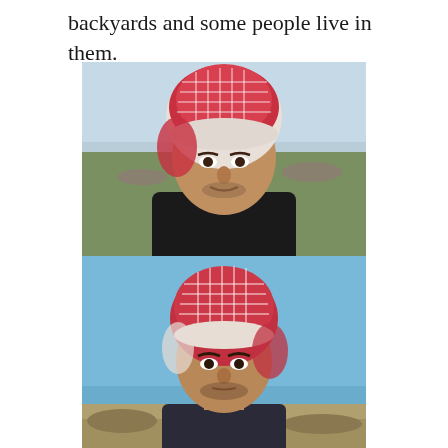backyards and some people live in them.
[Figure (photo): Portrait of a middle-aged man wearing a red and white checkered keffiyeh, a black leather jacket, outdoors on a rural road with fields and a straight road stretching behind him. Sky is partly cloudy.]
[Figure (photo): Portrait of a younger man wearing a red and white checkered keffiyeh, looking seriously at the camera. Blue sky behind him, rocky arid terrain visible at the bottom.]